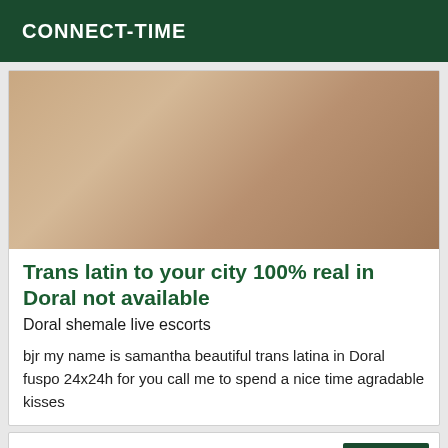CONNECT-TIME
[Figure (photo): Person seated on white surface wearing black high-heeled sandals, black clothing, with yellow pillow in background]
Trans latin to your city 100% real in Doral not available
Doral shemale live escorts
bjr my name is samantha beautiful trans latina in Doral fuspo 24x24h for you call me to spend a nice time agradable kisses
Verified